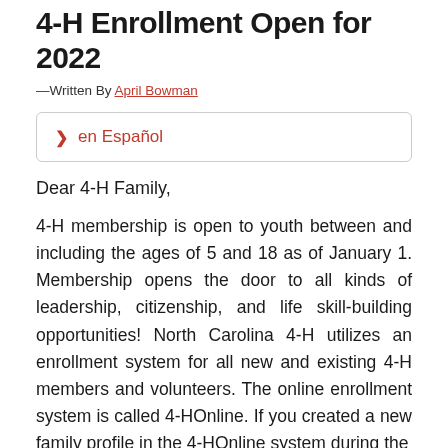4-H Enrollment Open for 2022
— Written By April Bowman
> en Español
Dear 4-H Family,
4-H membership is open to youth between and including the ages of 5 and 18 as of January 1. Membership opens the door to all kinds of leadership, citizenship, and life skill-building opportunities! North Carolina 4-H utilizes an enrollment system for all new and existing 4-H members and volunteers. The online enrollment system is called 4-HOnline. If you created a new family profile in the 4-HOnline system during the